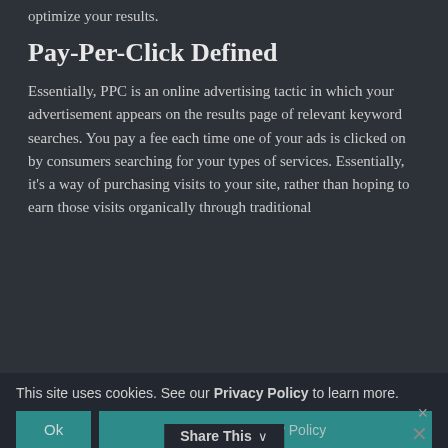optimize your results.
Pay-Per-Click Defined
Essentially, PPC is an online advertising tactic in which your advertisement appears on the results page of relevant keyword searches. You pay a fee each time one of your ads is clicked on by consumers searching for your types of services. Essentially, it’s a way of purchasing visits to your site, rather than hoping to earn those visits organically through traditional
This site uses cookies. See our Privacy Policy to learn more.
Ok
View Privacy Policy
Share This